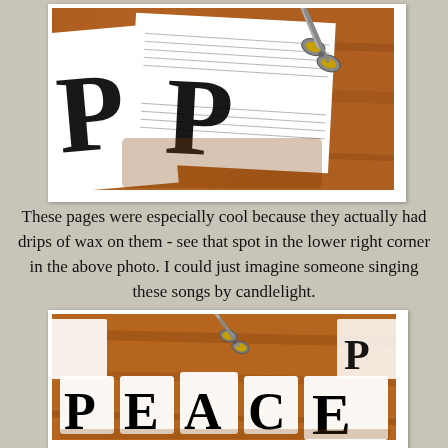[Figure (photo): Photo of paper with large letter P printed on it, with scissors on a wooden table surface. Sheet appears to be old music sheet with wax drips visible.]
These pages were especially cool because they actually had drips of wax on them - see that spot in the lower right corner in the above photo. I could just imagine someone singing these songs by candlelight.
[Figure (photo): Photo showing cut-out letters spelling PEACE arranged on a wooden table surface, each letter on a separate piece of paper/fabric. Scissors visible in background.]